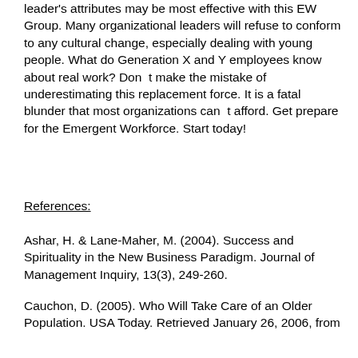leader's attributes may be most effective with this EW Group. Many organizational leaders will refuse to conform to any cultural change, especially dealing with young people. What do Generation X and Y employees know about real work? Don't make the mistake of underestimating this replacement force. It is a fatal blunder that most organizations can't afford. Get prepare for the Emergent Workforce. Start today!
References:
Ashar, H. & Lane-Maher, M. (2004). Success and Spirituality in the New Business Paradigm. Journal of Management Inquiry, 13(3), 249-260.
Cauchon, D. (2005). Who Will Take Care of an Older Population. USA Today. Retrieved January 26, 2006, from